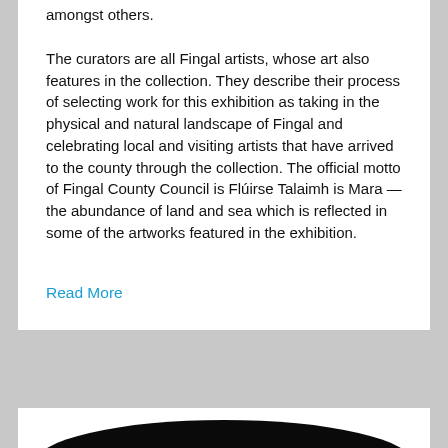amongst others.
The curators are all Fingal artists, whose art also features in the collection. They describe their process of selecting work for this exhibition as taking in the physical and natural landscape of Fingal and celebrating local and visiting artists that have arrived to the county through the collection. The official motto of Fingal County Council is Flúirse Talaimh is Mara — the abundance of land and sea which is reflected in some of the artworks featured in the exhibition.
Read More
[Figure (photo): Partial view of a dark circular object (appears to be top arc of a vinyl record or similar black disc) against a white background.]